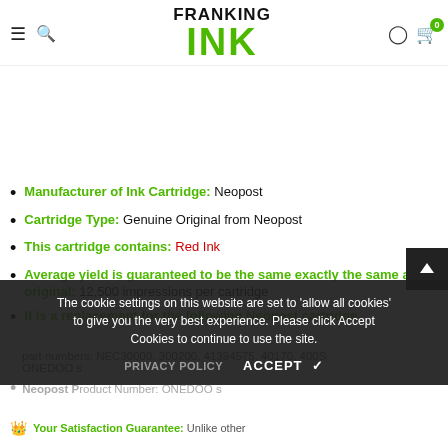[Figure (logo): Franking Ink logo with hamburger menu, search icon, user icon, and cart badge showing 0]
Manufacturer of Ink Cartridge: Neopost
Cartridge Type: Genuine Original from Neopost
This cartridge contains: Red Ink
Average yield is guaranteed to be the same exactly the same as an original: 12,500 impressions per cartridge
It is a replacement for the following Neopost cartridge part numbers: NEC30000, 300200, 41394575, 40170, 400S, ONEDOO s
Neopost Product Number: ONEDOO s
The cookie settings on this website are set to 'allow all cookies' to give you the very best experience. Please click Accept Cookies to continue to use the site.
PRIVACY POLICY    ACCEPT ✔
Your Satisfaction Guarantee: Unlike other